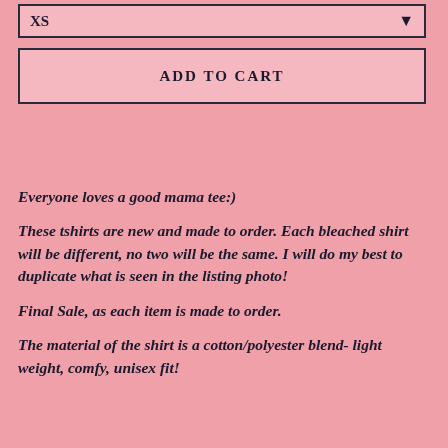[Figure (screenshot): Dropdown selector box showing 'XS' with a downward arrow, pink background with dark border]
[Figure (screenshot): Add to Cart button with uppercase text 'ADD TO CART', pink background with dark border]
Everyone loves a good mama tee:)
These tshirts are new and made to order. Each bleached shirt will be different, no two will be the same. I will do my best to duplicate what is seen in the listing photo!
Final Sale, as each item is made to order.
The material of the shirt is a cotton/polyester blend- light weight, comfy, unisex fit!